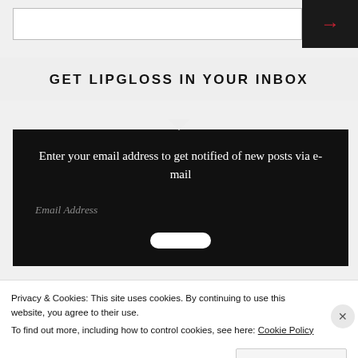[Figure (screenshot): Top navigation bar with white input field and dark button with red right-arrow]
GET LIPGLOSS IN YOUR INBOX
Enter your email address to get notified of new posts via e-mail
Email Address
Privacy & Cookies: This site uses cookies. By continuing to use this website, you agree to their use.
To find out more, including how to control cookies, see here: Cookie Policy
Close and accept